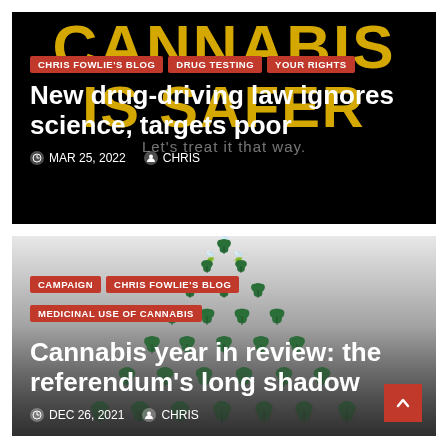[Figure (screenshot): Blog post card 1: Black background with large gold 'CANNABIS IS SAFER' text and subtitle 'Let's treat it that way.' Red category tags: CHRIS FOWLIE'S BLOG, DRUG TESTING, YOUR RIGHTS. White headline: 'New drug-driving law ignores science, targets poor'. Date MAR 25, 2022, Author CHRIS.]
[Figure (screenshot): Blog post card 2: Gray gradient background with green cannabis leaf triangle pattern. Red category tags: CAMPAIGN, CHRIS FOWLIE'S BLOG, MEDICINAL USE OF CANNABIS. White headline: 'Cannabis year in review: the referendum's long shadow'. Date DEC 26, 2021, Author CHRIS. Red back-to-top button bottom right.]